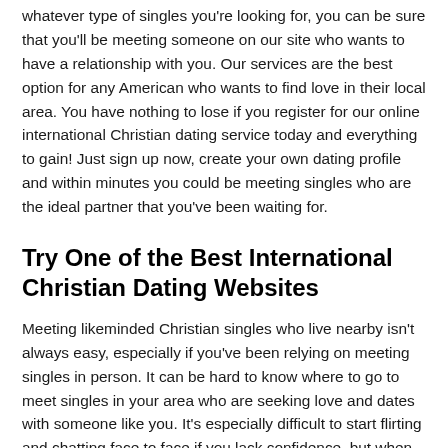whatever type of singles you're looking for, you can be sure that you'll be meeting someone on our site who wants to have a relationship with you. Our services are the best option for any American who wants to find love in their local area. You have nothing to lose if you register for our online international Christian dating service today and everything to gain! Just sign up now, create your own dating profile and within minutes you could be meeting singles who are the ideal partner that you've been waiting for.
Try One of the Best International Christian Dating Websites
Meeting likeminded Christian singles who live nearby isn't always easy, especially if you've been relying on meeting singles in person. It can be hard to know where to go to meet singles in your area who are seeking love and dates with someone like you. It's especially difficult to start flirting and chatting face to face if you lack confidence, but when you register with our international Christian dating site, you'll find it easy to find love. When you date online, you can start flirting and chatting without having to worry about face to